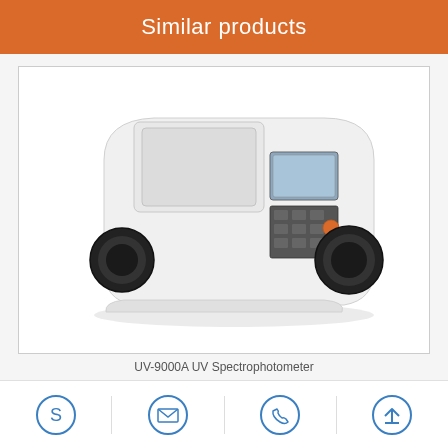Similar products
[Figure (photo): UV-9000A UV Spectrophotometer — a white bench-top double-beam spectrophotometer with LCD display, keypad, and two circular black apertures on the front face.]
UV-9000A UV Spectrophotometer
Skype | Email | Phone | Back to top